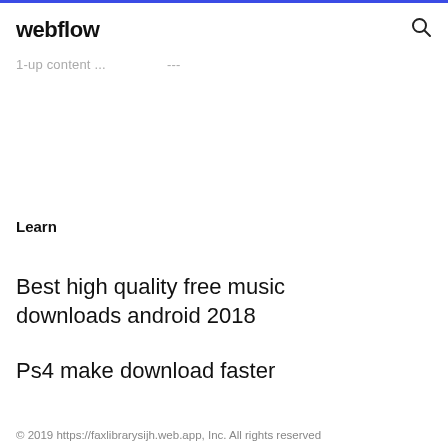webflow [search icon]
1-up content ... ---
Learn
Best high quality free music downloads android 2018
Ps4 make download faster
© 2019 https://faxlibrarysijh.web.app, Inc. All rights reserved